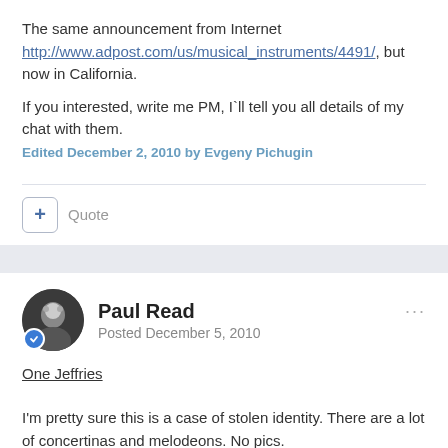The same announcement from Internet http://www.adpost.com/us/musical_instruments/4491/, but now in California.
If you interested, write me PM, I`ll tell you all details of my chat with them.
Edited December 2, 2010 by Evgeny Pichugin
Quote
Paul Read
Posted December 5, 2010
One Jeffries
I'm pretty sure this is a case of stolen identity. There are a lot of concertinas and melodeons. No pics.